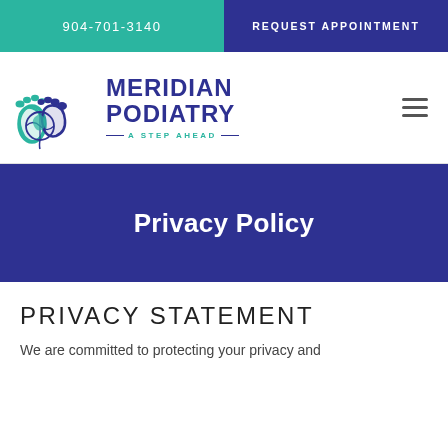904-701-3140
REQUEST APPOINTMENT
[Figure (logo): Meridian Podiatry logo with footprint icons and globe, teal and navy blue colors]
Privacy Policy
PRIVACY STATEMENT
We are committed to protecting your privacy and